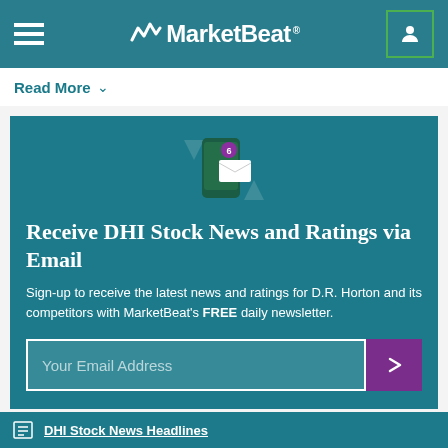MarketBeat
Read More
Receive DHI Stock News and Ratings via Email
Sign-up to receive the latest news and ratings for D.R. Horton and its competitors with MarketBeat's FREE daily newsletter.
Your Email Address
DHI Stock News Headlines